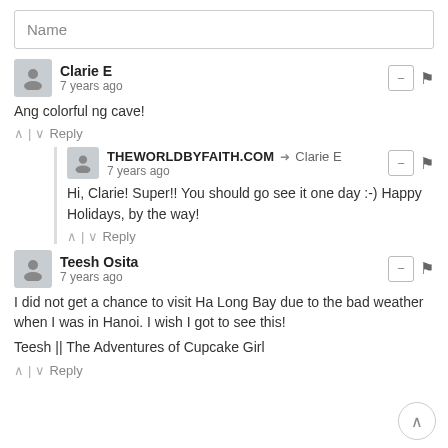Name
Clarie E
7 years ago
Ang colorful ng cave!
^ | v Reply
THEWORLDBYFAITH.COM → Clarie E
7 years ago
Hi, Clarie! Super!! You should go see it one day :-) Happy Holidays, by the way!
^ | v Reply
Teesh Osita
7 years ago
I did not get a chance to visit Ha Long Bay due to the bad weather when I was in Hanoi. I wish I got to see this!

Teesh || The Adventures of Cupcake Girl
^ | v Reply